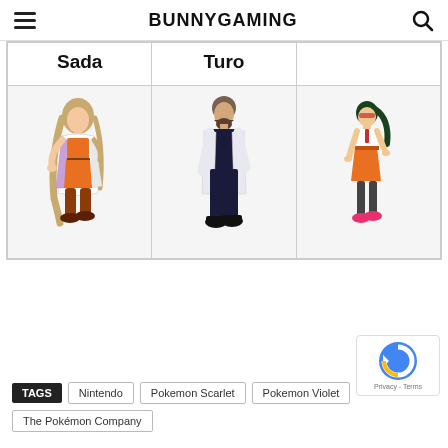BUNNYGAMING
| Sada | Turo |  |
| --- | --- | --- |
| [character illustration: Sada] | [character illustration: Turo] | [character illustration: Penny] |
TAGS  Nintendo  Pokemon Scarlet  Pokemon Violet  The Pokémon Company